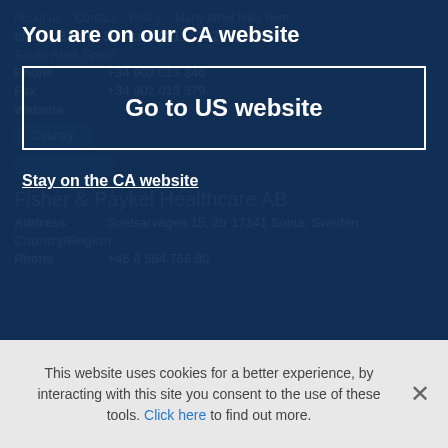[Figure (screenshot): Website modal dialog overlay on a dark blue background. Modal shows 'You are on our CA website' with a button 'Go to US website' and a link 'Stay on the CA website'. Behind the modal, faded background text shows contact info and Fisher & Paykel Healthcare AB listing.]
This website uses cookies for a better experience, by interacting with this site you consent to the use of these tools. Click here to find out more.